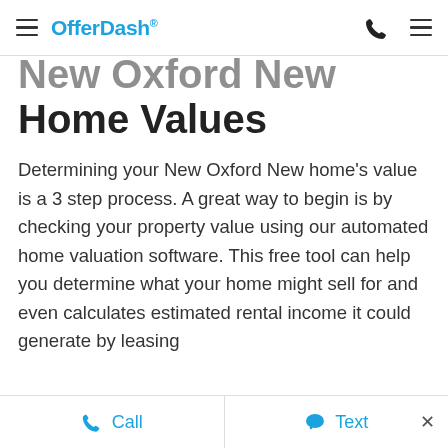OfferDash
New Oxford New Home Values
Determining your New Oxford New home's value is a 3 step process. A great way to begin is by checking your property value using our automated home valuation software. This free tool can help you determine what your home might sell for and even calculates estimated rental income it could generate by leasing
Call   Text